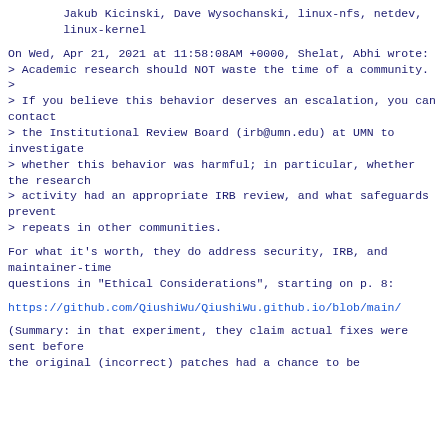Jakub Kicinski, Dave Wysochanski, linux-nfs, netdev,
        linux-kernel
On Wed, Apr 21, 2021 at 11:58:08AM +0000, Shelat, Abhi wrote:
> Academic research should NOT waste the time of a community.
>
> If you believe this behavior deserves an escalation, you can contact
> the Institutional Review Board (irb@umn.edu) at UMN to investigate
> whether this behavior was harmful; in particular, whether the research
> activity had an appropriate IRB review, and what safeguards prevent
> repeats in other communities.
For what it's worth, they do address security, IRB, and maintainer-time
questions in "Ethical Considerations", starting on p. 8:
https://github.com/QiushiWu/QiushiWu.github.io/blob/main/
(Summary: in that experiment, they claim actual fixes were sent before
the original (incorrect) patches had a chance to be